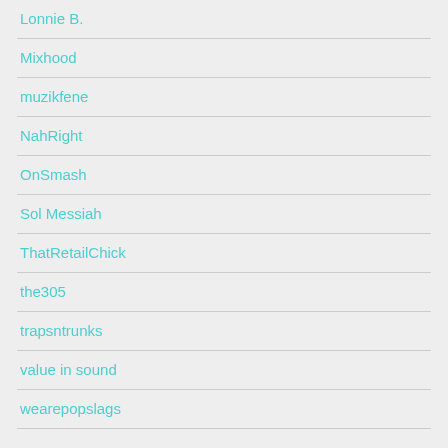Lonnie B.
Mixhood
muzikfene
NahRight
OnSmash
Sol Messiah
ThatRetailChick
the305
trapsntrunks
value in sound
wearepopslags